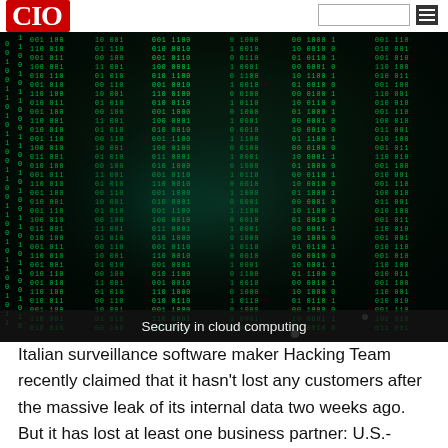CIO
[Figure (photo): Matrix-style falling green binary code (0s and 1s) on dark background, representing cybersecurity / security in cloud computing.]
Security in cloud computing
Italian surveillance software maker Hacking Team recently claimed that it hasn't lost any customers after the massive leak of its internal data two weeks ago. But it has lost at least one business partner: U.S.-based penetration testing